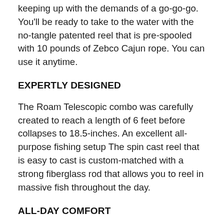keeping up with the demands of a go-go-go. You'll be ready to take to the water with the no-tangle patented reel that is pre-spooled with 10 pounds of Zebco Cajun rope. You can use it anytime.
EXPERTLY DESIGNED
The Roam Telescopic combo was carefully created to reach a length of 6 feet before collapses to 18.5-inches. An excellent all-purpose fishing setup The spin cast reel that is easy to cast is custom-matched with a strong fiberglass rod that allows you to reel in massive fish throughout the day.
ALL-DAY COMFORT
This durable casting reel with a telescopic rod